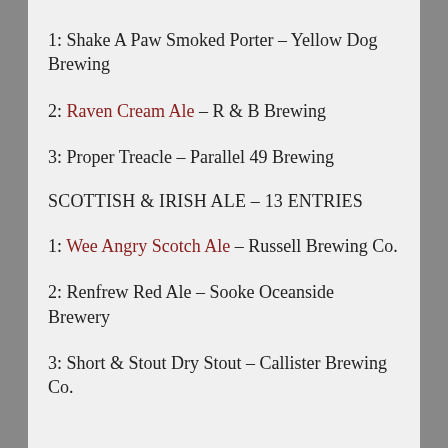1: Shake A Paw Smoked Porter – Yellow Dog Brewing
2: Raven Cream Ale – R & B Brewing
3: Proper Treacle – Parallel 49 Brewing
SCOTTISH & IRISH ALE – 13 ENTRIES
1: Wee Angry Scotch Ale – Russell Brewing Co.
2: Renfrew Red Ale – Sooke Oceanside Brewery
3: Short & Stout Dry Stout – Callister Brewing Co.
Advertisements
[Figure (illustration): DAY ONE journaling app advertisement banner with light blue background and app icons]